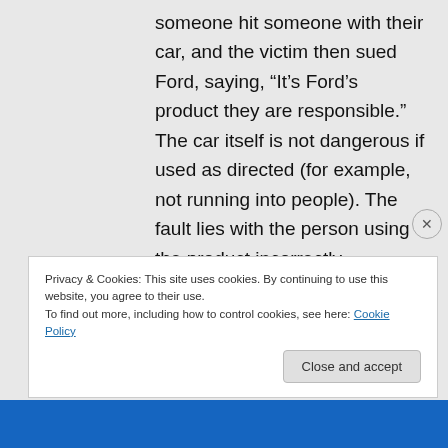someone hit someone with their car, and the victim then sued Ford, saying, “It’s Ford’s product they are responsible.” The car itself is not dangerous if used as directed (for example, not running into people). The fault lies with the person using the product incorrectly.
Privacy & Cookies: This site uses cookies. By continuing to use this website, you agree to their use.
To find out more, including how to control cookies, see here: Cookie Policy